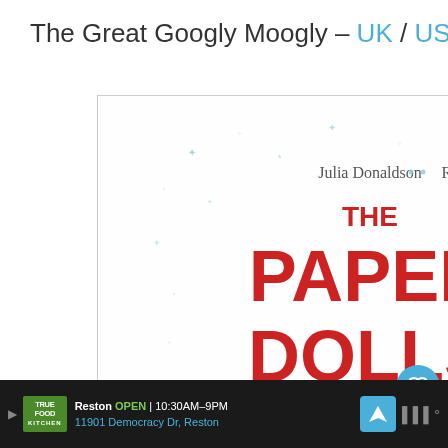The Great Googly Moogly – UK / US
[Figure (illustration): Book cover for 'The Paper Dolls' by Julia Donaldson and Rebecca Cobb. Shows five paper dolls holding hands in a chain, with a young girl in a red top holding them up. Title text 'THE PAPER DOLLS' in large red letters on a white background with blue star/snowflake decorations.]
WHAT'S NEXT → DaddiLife "You're Goin..."
Reston OPEN | 10:30AM–9PM 11901 Democracy Dr, Reston